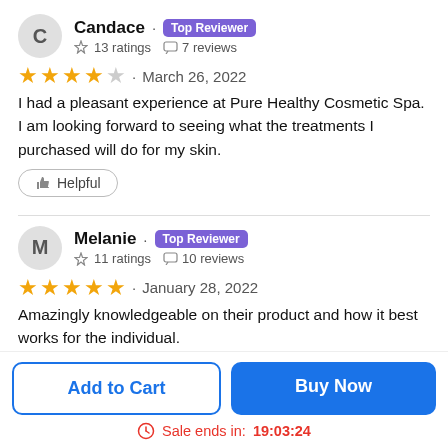Candace · Top Reviewer · ☆ 13 ratings · 💬 7 reviews
★★★★☆ · March 26, 2022
I had a pleasant experience at Pure Healthy Cosmetic Spa. I am looking forward to seeing what the treatments I purchased will do for my skin.
👍 Helpful
Melanie · Top Reviewer · ☆ 11 ratings · 💬 10 reviews
★★★★★ · January 28, 2022
Amazingly knowledgeable on their product and how it best works for the individual.
Add to Cart
Buy Now
Sale ends in: 19:03:24